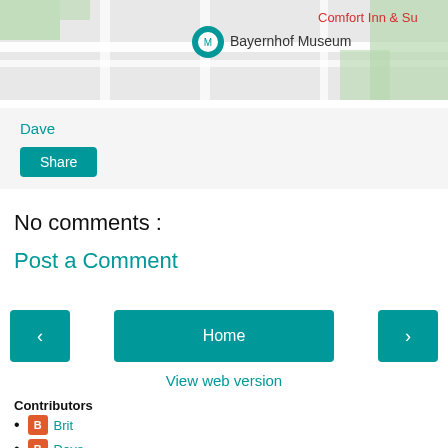[Figure (map): Google Maps screenshot showing Bayernhof Museum location marker and Comfort Inn & Su label in red]
Dave
Share
No comments :
Post a Comment
< (previous) | Home | > (next)
View web version
Contributors
Brit
Dave
Interesting Pennsylvania